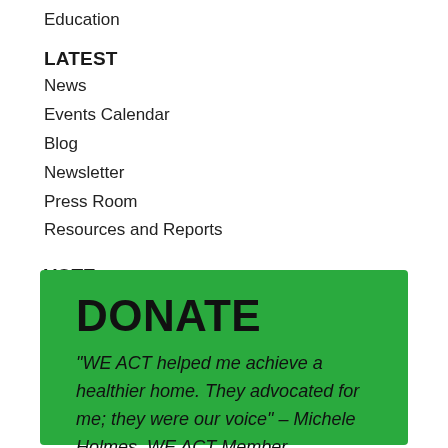Education
LATEST
News
Events Calendar
Blog
Newsletter
Press Room
Resources and Reports
VOTE
COP27
[Figure (other): Green donation banner with bold DONATE heading and italic testimonial quote: "WE ACT helped me achieve a healthier home. They advocated for me; they were our voice" – Michele Holmes, WE ACT Member]